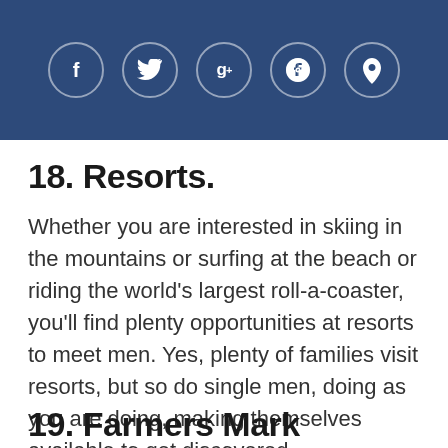[Figure (other): Blue header bar with four social media icons: Facebook (f), Twitter (bird), Google+ (g+), Pinterest (p)]
18. Resorts.
Whether you are interested in skiing in the mountains or surfing at the beach or riding the world's largest roll-a-coaster, you'll find plenty opportunities at resorts to meet men. Yes, plenty of families visit resorts, but so do single men, doing as you are doing, making themselves available to get discovered.
19. Farmers Mark...